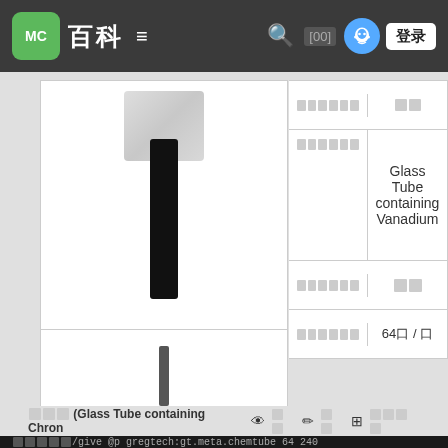MC 百科 ≡  🔍 [00] 登录
[Figure (screenshot): Minecraft item info box showing a tall black glass tube item image in upper cell, smaller tube in middle cell, and wood block icon with text in lower cell]
| 属性 | 值 |
| --- | --- |
| 圆圆圆圆圆圆 | 圆圆 |
| 圆圆圆圆圆圆 | Glass Tube containing Vanadium |
| 圆圆圆圆圆圆 | 圆圆 |
| 圆圆圆圆圆圆 | 64圆 / 圆 |
圆圆圆 (Glass Tube containing Chron  👁 圆圆  ✏ 圆圆  ⊞ 圆圆圆圆
圆圆圆圆圆/give @p gregtech:gt.meta.chemtube 64 240